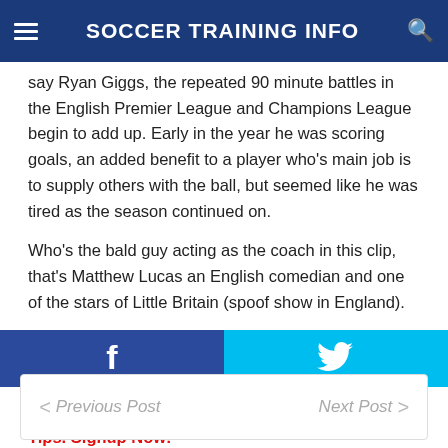SOCCER TRAINING INFO
say Ryan Giggs, the repeated 90 minute battles in the English Premier League and Champions League begin to add up. Early in the year he was scoring goals, an added benefit to a player who's main job is to supply others with the ball, but seemed like he was tired as the season continued on.
Who's the bald guy acting as the coach in this clip, that's Matthew Lucas an English comedian and one of the stars of Little Britain (spoof show in England).
[Figure (other): Social share buttons: Facebook (blue) and Twitter (cyan) with icons]
Coerver Coaching: Get FREE Soccer Training Tips. Signup Now!
Previous Post | Next Post